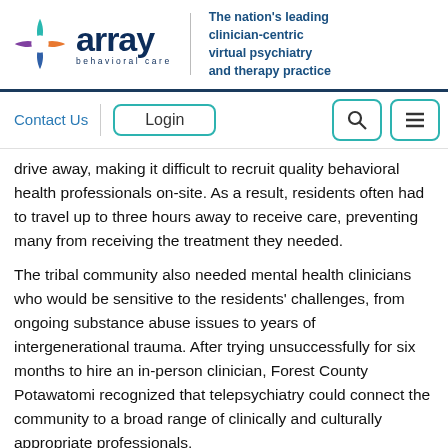[Figure (logo): Array Behavioral Care logo with colorful star/compass icon and text 'array behavioral care' with tagline 'The nation's leading clinician-centric virtual psychiatry and therapy practice']
[Figure (screenshot): Website navigation bar with Contact Us link, Login button, search icon button, and hamburger menu button]
drive away, making it difficult to recruit quality behavioral health professionals on-site. As a result, residents often had to travel up to three hours away to receive care, preventing many from receiving the treatment they needed.
The tribal community also needed mental health clinicians who would be sensitive to the residents' challenges, from ongoing substance abuse issues to years of intergenerational trauma. After trying unsuccessfully for six months to hire an in-person clinician, Forest County Potawatomi recognized that telepsychiatry could connect the community to a broad range of clinically and culturally appropriate professionals.